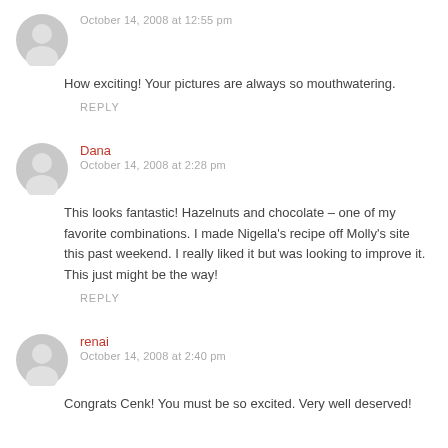October 14, 2008 at 12:55 pm
How exciting! Your pictures are always so mouthwatering.
REPLY
Dana
October 14, 2008 at 2:28 pm
This looks fantastic! Hazelnuts and chocolate – one of my favorite combinations. I made Nigella's recipe off Molly's site this past weekend. I really liked it but was looking to improve it. This just might be the way!
REPLY
renai
October 14, 2008 at 2:40 pm
Congrats Cenk! You must be so excited. Very well deserved!